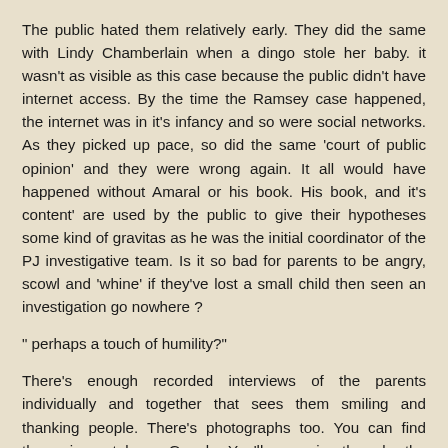The public hated them relatively early. They did the same with Lindy Chamberlain when a dingo stole her baby. it wasn't as visible as this case because the public didn't have internet access. By the time the Ramsey case happened, the internet was in it's infancy and so were social networks. As they picked up pace, so did the same 'court of public opinion' and they were wrong again. It all would have happened without Amaral or his book. His book, and it's content' are used by the public to give their hypotheses some kind of gravitas as he was the initial coordinator of the PJ investigative team. Is it so bad for parents to be angry, scowl and 'whine' if they've lost a small child then seen an investigation go nowhere ?
" perhaps a touch of humility?"
There's enough recorded interviews of the parents individually and together that sees them smiling and thanking people. There's photographs too. You can find them via youtube or Google. You'll recognise them by the comments sections. They're full to the brim with criticisms pointing to them being 'evil' 'smug' and 'cold' for smiling.